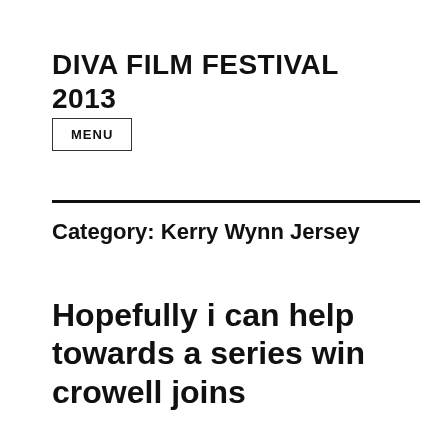DIVA FILM FESTIVAL 2013
MENU
Category: Kerry Wynn Jersey
Hopefully i can help towards a series win crowell joins